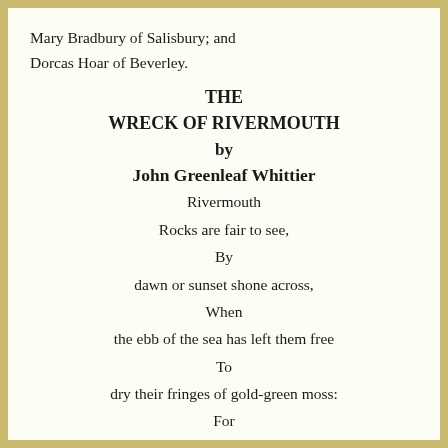Mary Bradbury of Salisbury; and Dorcas Hoar of Beverley.
THE WRECK OF RIVERMOUTH by John Greenleaf Whittier
Rivermouth
Rocks are fair to see,
By
dawn or sunset shone across,
When
the ebb of the sea has left them free
To
dry their fringes of gold-green moss:
For
there the river comes winding down,